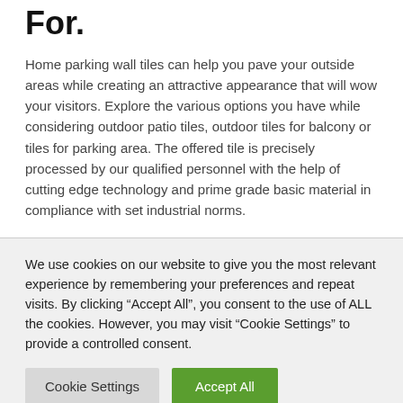For.
Home parking wall tiles can help you pave your outside areas while creating an attractive appearance that will wow your visitors. Explore the various options you have while considering outdoor patio tiles, outdoor tiles for balcony or tiles for parking area. The offered tile is precisely processed by our qualified personnel with the help of cutting edge technology and prime grade basic material in compliance with set industrial norms.
We use cookies on our website to give you the most relevant experience by remembering your preferences and repeat visits. By clicking “Accept All”, you consent to the use of ALL the cookies. However, you may visit “Cookie Settings” to provide a controlled consent.